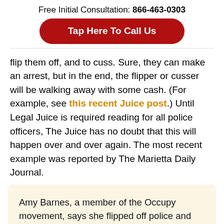Free Initial Consultation: 866-463-0303
[Figure (other): Red rounded button reading 'Tap Here To Call Us']
flip them off, and to cuss. Sure, they can make an arrest, but in the end, the flipper or cusser will be walking away with some cash. (For example, see this recent Juice post.) Until Legal Juice is required reading for all police officers, The Juice has no doubt that this will happen over and over again. The most recent example was reported by The Marietta Daily Journal.
Amy Barnes, a member of the Occupy movement, says she flipped off police and cussed at them as she was on her bike on Austell Road near her Marietta home. Two Cobb Police officers had teenagers stopped